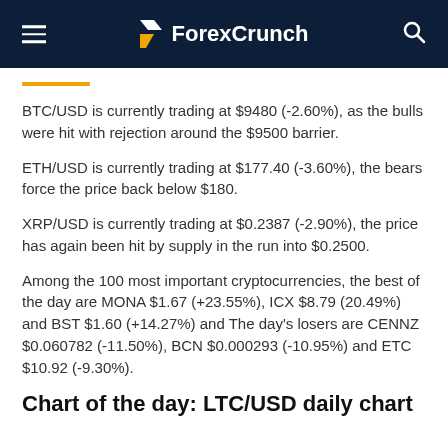ForexCrunch
BTC/USD is currently trading at $9480 (-2.60%), as the bulls were hit with rejection around the $9500 barrier.
ETH/USD is currently trading at $177.40 (-3.60%), the bears force the price back below $180.
XRP/USD is currently trading at $0.2387 (-2.90%), the price has again been hit by supply in the run into $0.2500.
Among the 100 most important cryptocurrencies, the best of the day are MONA $1.67 (+23.55%), ICX $8.79 (20.49%) and BST $1.60 (+14.27%) and The day's losers are CENNZ $0.060782 (-11.50%), BCN $0.000293 (-10.95%) and ETC $10.92 (-9.30%).
Chart of the day: LTC/USD daily chart